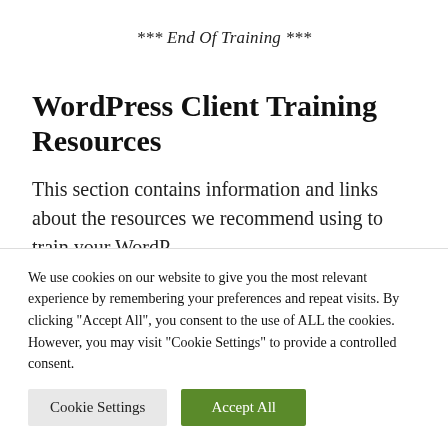*** End Of Training ***
WordPress Client Training Resources
This section contains information and links about the resources we recommend using to train your WordP...
We use cookies on our website to give you the most relevant experience by remembering your preferences and repeat visits. By clicking "Accept All", you consent to the use of ALL the cookies. However, you may visit "Cookie Settings" to provide a controlled consent.
Cookie Settings | Accept All